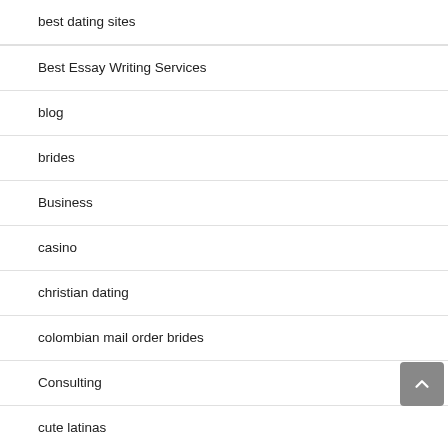best dating sites
Best Essay Writing Services
blog
brides
Business
casino
christian dating
colombian mail order brides
Consulting
cute latinas
dating sites